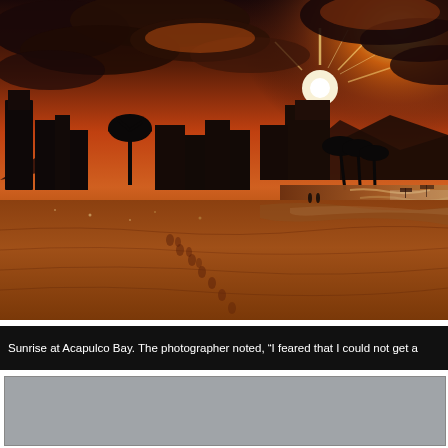[Figure (photo): Sunrise at Acapulco Bay beach at golden hour. The foreground shows wet sand with footprints, the middle ground shows silhouetted palm trees and city buildings, and the background shows a bright sun setting/rising behind mountains with dramatic orange and dark cloudy sky and ocean waves to the right.]
Sunrise at Acapulco Bay. The photographer noted, “I feared that I could not get a
[Figure (photo): Partially visible photograph, mostly gray/obscured, appears to be another image below the caption bar.]